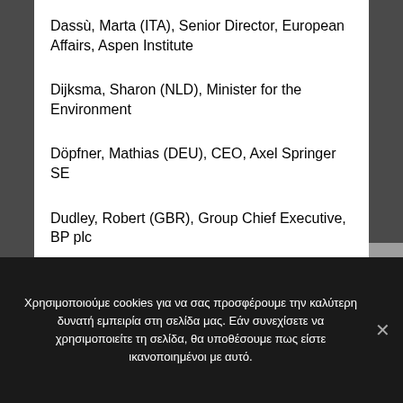Dassù, Marta (ITA), Senior Director, European Affairs, Aspen Institute
Dijksma, Sharon (NLD), Minister for the Environment
Döpfner, Mathias (DEU), CEO, Axel Springer SE
Dudley, Robert (GBR), Group Chief Executive, BP plc
Χρησιμοποιούμε cookies για να σας προσφέρουμε την καλύτερη δυνατή εμπειρία στη σελίδα μας. Εάν συνεχίσετε να χρησιμοποιείτε τη σελίδα, θα υποθέσουμε πως είστε ικανοποιημένοι με αυτό.